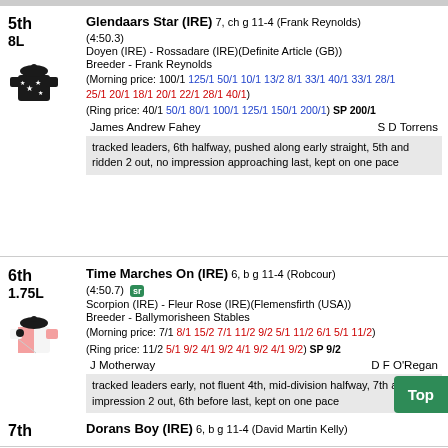5th 8L Glendaars Star (IRE) 7, ch g 11-4 (Frank Reynolds) (4:50.3) Doyen (IRE) - Rossadare (IRE)(Definite Article (GB)) Breeder - Frank Reynolds (Morning price: 100/1 125/1 50/1 10/1 13/2 8/1 33/1 40/1 33/1 28/1 25/1 20/1 18/1 20/1 22/1 28/1 40/1) (Ring price: 40/1 50/1 80/1 100/1 125/1 150/1 200/1) SP 200/1 James Andrew Fahey S D Torrens tracked leaders, 6th halfway, pushed along early straight, 5th and ridden 2 out, no impression approaching last, kept on one pace
6th 1.75L Time Marches On (IRE) 6, b g 11-4 (Robcour) (4:50.7) [sr] Scorpion (IRE) - Fleur Rose (IRE)(Flemensfirth (USA)) Breeder - Ballymorisheen Stables (Morning price: 7/1 8/1 15/2 7/1 11/2 9/2 5/1 11/2 6/1 5/1 11/2) (Ring price: 11/2 5/1 9/2 4/1 9/2 4/1 9/2 4/1 9/2) SP 9/2 J Motherway D F O'Regan tracked leaders early, not fluent 4th, mid-division halfway, 7th and no impression 2 out, 6th before last, kept on one pace
7th Dorans Boy (IRE) 6, b g 11-4 (David Martin Kelly)